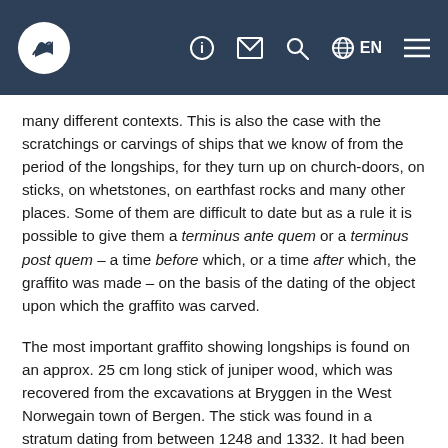Navigation header with logo and icons (ℹ, mail, search, globe/EN, menu)
many different contexts. This is also the case with the scratchings or carvings of ships that we know of from the period of the longships, for they turn up on church-doors, on sticks, on whetstones, on earthfast rocks and many other places. Some of them are difficult to date but as a rule it is possible to give them a terminus ante quem or a terminus post quem – a time before which, or a time after which, the graffito was made – on the basis of the dating of the object upon which the graffito was carved.
The most important graffito showing longships is found on an approx. 25 cm long stick of juniper wood, which was recovered from the excavations at Bryggen in the West Norwegain town of Bergen. The stick was found in a stratum dating from between 1248 and 1332. It had been split lengthwise and decorated with ships on both the round and the flat side. In addition it bore a runic inscription that reads Hér ferr hafdjarfr 'Here goes the sea-brave'.
The representations of the ships on the stick are remarkable. On the flat side are seen the stems of 48 ships, in a line, overlapping each other and gradually decreasing in size towards the right so